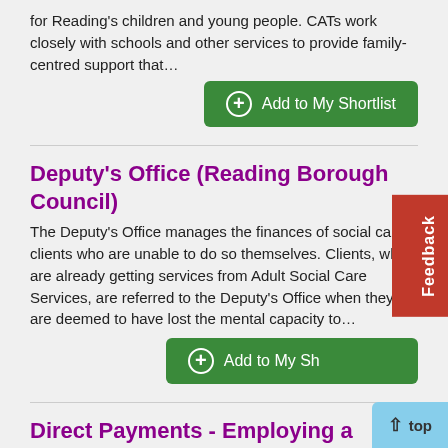for Reading's children and young people. CATs work closely with schools and other services to provide family-centred support that…
Add to My Shortlist
Deputy's Office (Reading Borough Council)
The Deputy's Office manages the finances of social care clients who are unable to do so themselves. Clients, who are already getting services from Adult Social Care Services, are referred to the Deputy's Office when they are deemed to have lost the mental capacity to…
Add to My Shortlist
Direct Payments - Employing a personal assistant for your child using Direct Payments - a guide for parents and carers (BFfC)
Direct Payments - a guide for parents and carers to employing a…